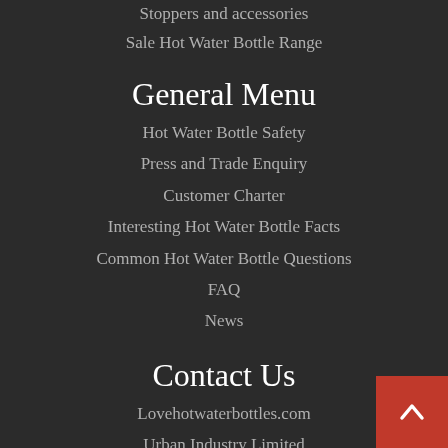Stoppers and accessories
Sale Hot Water Bottle Range
General Menu
Hot Water Bottle Safety
Press and Trade Enquiry
Customer Charter
Interesting Hot Water Bottle Facts
Common Hot Water Bottle Questions
FAQ
News
Contact Us
Lovehotwaterbottles.com
Urban Industry Limited
c/o Infinite Group Logistics
Unit 5, Pagoda Park
Westmead Industrial Estate
SWINDON